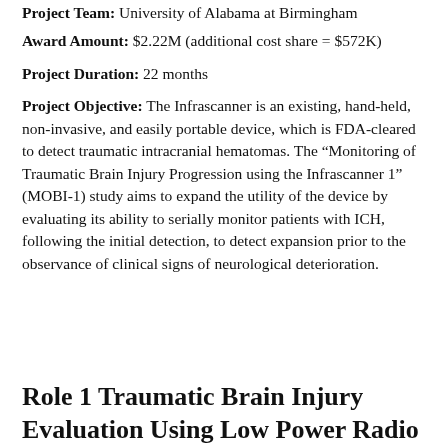Project Team: University of Alabama at Birmingham
Award Amount: $2.22M (additional cost share = $572K)
Project Duration: 22 months
Project Objective: The Infrascanner is an existing, hand-held, non-invasive, and easily portable device, which is FDA-cleared to detect traumatic intracranial hematomas. The “Monitoring of Traumatic Brain Injury Progression using the Infrascanner 1” (MOBI-1) study aims to expand the utility of the device by evaluating its ability to serially monitor patients with ICH, following the initial detection, to detect expansion prior to the observance of clinical signs of neurological deterioration.
Role 1 Traumatic Brain Injury Evaluation Using Low Power Radio